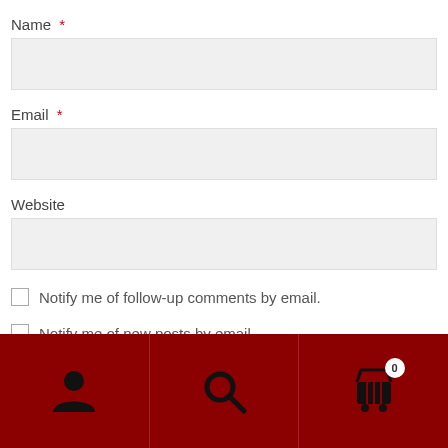Name *
Email *
Website
Notify me of follow-up comments by email.
Notify me of new posts by email.
Post Comment
[Figure (infographic): Mobile bottom navigation bar with dark red background containing three icon buttons: user/person icon, search/magnifying glass icon, and shopping cart icon with badge showing 0]